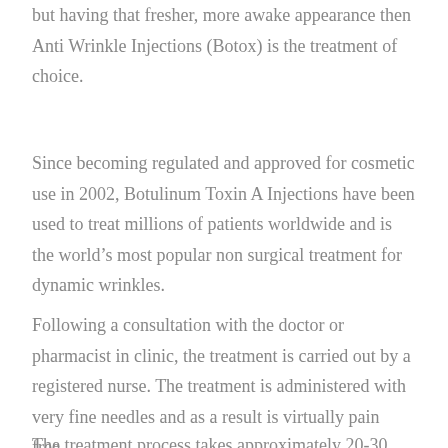but having that fresher, more awake appearance then Anti Wrinkle Injections (Botox) is the treatment of choice.
Since becoming regulated and approved for cosmetic use in 2002, Botulinum Toxin A Injections have been used to treat millions of patients worldwide and is the world’s most popular non surgical treatment for dynamic wrinkles.
Following a consultation with the doctor or pharmacist in clinic, the treatment is carried out by a registered nurse. The treatment is administered with very fine needles and as a result is virtually pain free.
The treatment process takes approximately 20-30 minute. The treatment requires no